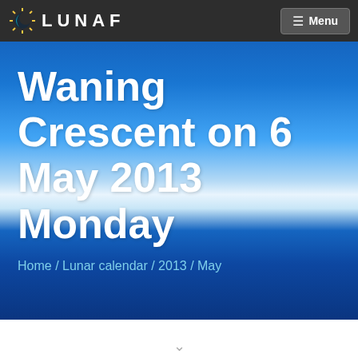LUNAF — Menu
Waning Crescent on 6 May 2013 Monday
Home / Lunar calendar / 2013 / May